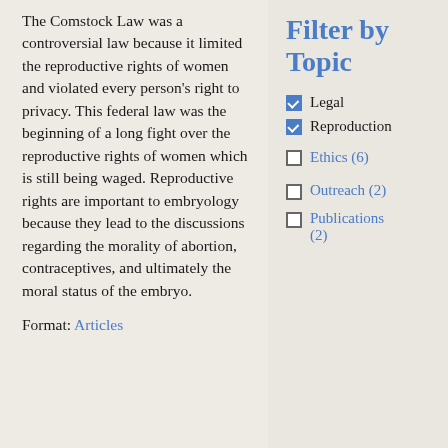The Comstock Law was a controversial law because it limited the reproductive rights of women and violated every person's right to privacy. This federal law was the beginning of a long fight over the reproductive rights of women which is still being waged. Reproductive rights are important to embryology because they lead to the discussions regarding the morality of abortion, contraceptives, and ultimately the moral status of the embryo.
Format: Articles
Filter by Topic
Legal (checked)
Reproduction (checked)
Ethics (6)
Outreach (2)
Publications (2)